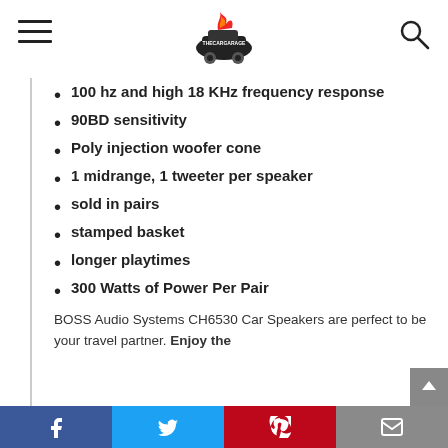[Navigation header with hamburger menu, logo, and search icon]
100 hz and high 18 KHz frequency response
90BD sensitivity
Poly injection woofer cone
1 midrange, 1 tweeter per speaker
sold in pairs
stamped basket
longer playtimes
300 Watts of Power Per Pair
BOSS Audio Systems CH6530 Car Speakers are perfect to be your travel partner. Enjoy the
Facebook | Twitter | Pinterest | Email | Scroll to top